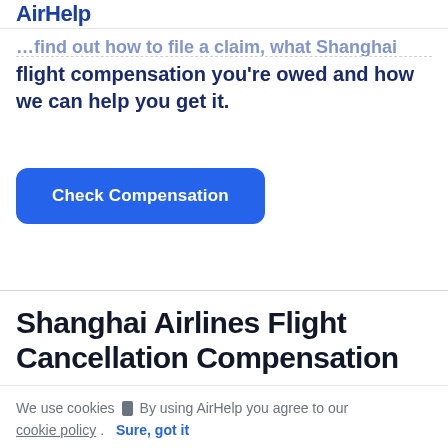AirHelp
flight compensation you're owed and how we can help you get it.
Check Compensation
Shanghai Airlines Flight Cancellation Compensation
We use cookies 🍪 By using AirHelp you agree to our cookie policy. Sure, got it